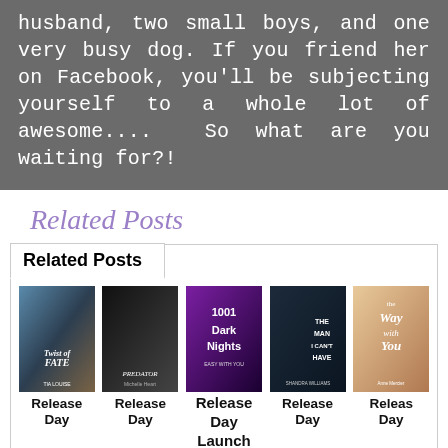husband, two small boys, and one very busy dog. If you friend her on Facebook, you'll be subjecting yourself to a whole lot of awesome.... So what are you waiting for?!
Related Posts
Related Posts
[Figure (photo): Five book covers in a row: Twist of Fate by Tia Louise, Predator by Michelle Heard, 1001 Dark Nights (Easy with You), The Man I Can't Have by Shandra Williams, The Way with You by Anne Mercier]
Release Day  Release Day  Release Day Launch Easy  Release Day  Release Day